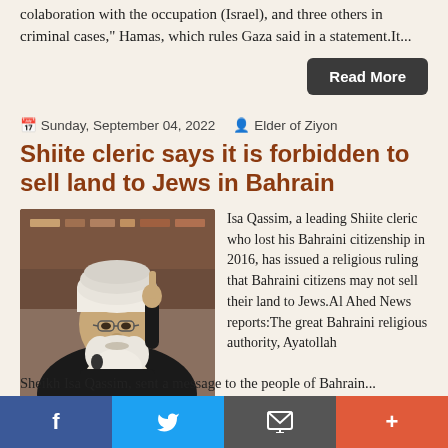colaboration with the occupation (Israel), and three others in criminal cases," Hamas, which rules Gaza said in a statement.It...
Read More
Sunday, September 04, 2022   Elder of Ziyon
Shiite cleric says it is forbidden to sell land to Jews in Bahrain
[Figure (photo): A Shiite cleric in black robes and white turban, pointing upward with one finger while speaking at a microphone.]
Isa Qassim, a leading Shiite cleric who lost his Bahraini citizenship in 2016, has issued a religious ruling that Bahraini citizens may not sell their land to Jews.Al Ahed News reports:The great Bahraini religious authority, Ayatollah
Sheikh Isa Qassim, sent a message to the people of Bahrain...